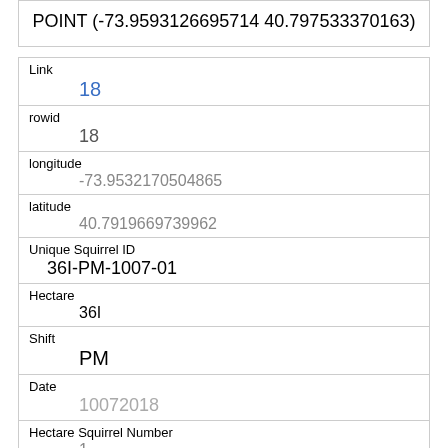POINT (-73.9593126695714 40.797533370163)
| Field | Value |
| --- | --- |
| Link | 18 |
| rowid | 18 |
| longitude | -73.9532170504865 |
| latitude | 40.7919669739962 |
| Unique Squirrel ID | 36I-PM-1007-01 |
| Hectare | 36I |
| Shift | PM |
| Date | 10072018 |
| Hectare Squirrel Number | 1 |